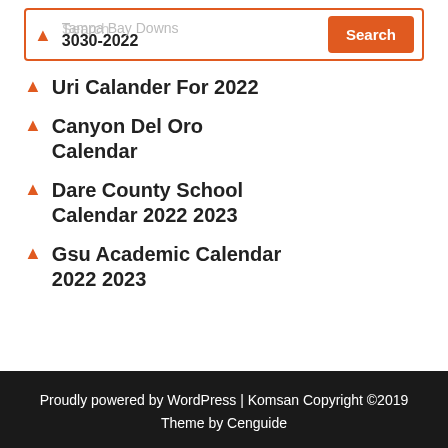Tampa Bay Downs 3030-2022
Uri Calander For 2022
Canyon Del Oro Calendar
Dare County School Calendar 2022 2023
Gsu Academic Calendar 2022 2023
Proudly powered by WordPress | Komsan Copyright ©2019 Theme by Cenguide